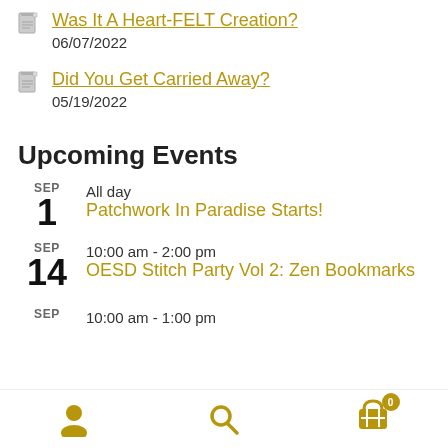Was It A Heart-FELT Creation?
06/07/2022
Did You Get Carried Away?
05/19/2022
Upcoming Events
SEP 1 | All day | Patchwork In Paradise Starts!
SEP 14 | 10:00 am - 2:00 pm | OESD Stitch Party Vol 2: Zen Bookmarks
SEP | 10:00 am - 1:00 pm
User icon | Search icon | Cart (0)